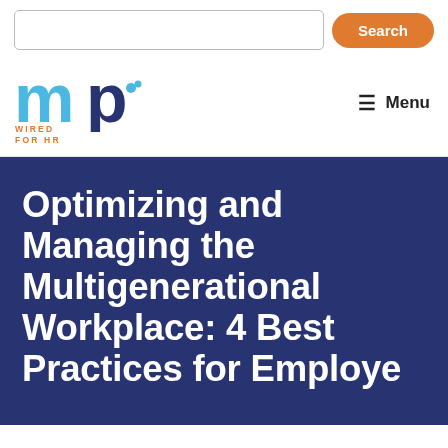[Figure (logo): MP Wired For HR logo with search bar and search button in header]
Menu
Optimizing and Managing the Multigenerational Workplace: 4 Best Practices for Employee